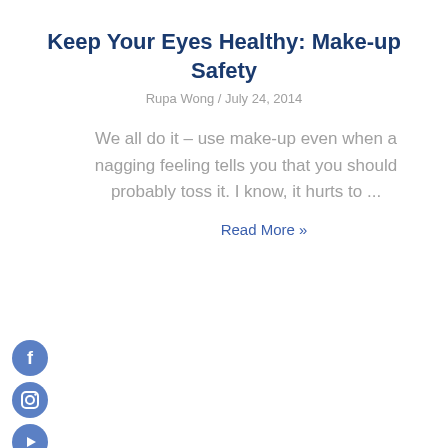Keep Your Eyes Healthy: Make-up Safety
Rupa Wong / July 24, 2014
We all do it – use make-up even when a nagging feeling tells you that you should probably toss it.  I know, it hurts to ...
Read More »
[Figure (infographic): Vertical column of 8 social media icon circles (Facebook, Instagram, YouTube, Pinterest, TikTok, LinkedIn, RSS/Blog, Podcast) in medium blue]